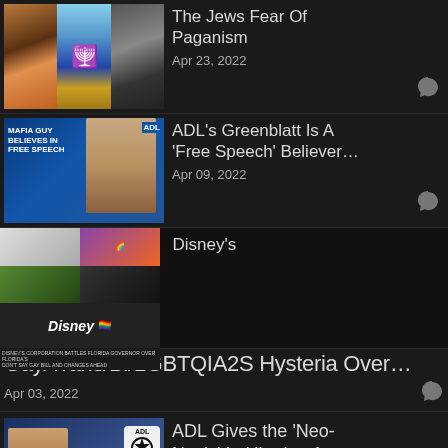[Figure (screenshot): Three thumbnail images side by side: ancient script on stone, menorah with rainbow on blue sky, and a dark stone/rock image]
The Jews Fear Of Paganism
Apr 23, 2022
[Figure (screenshot): Video thumbnail showing ADL segment with text 'MAFIA GUY BELIEVES IN FREE SPEECH' and a man's face on blue background with ADL logo]
ADL's Greenblatt Is A 'Free Speech' Believer…
Apr 09, 2022
[Figure (screenshot): Disney related collage with people, rainbow Disney logo, and news chyron about Florida law]
Disney's
Gay/Trans/Bi/LGBTQIA2S Hysteria Over…
Apr 03, 2022
[Figure (screenshot): Man's face with ADL logo and PASS badge overlay, with Ukrainian flag colors in background]
ADL Gives the 'Neo-Nazis' In Ukraine A Pass